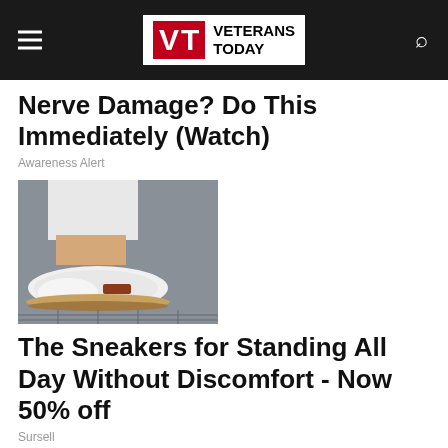Veterans Today
Nerve Damage? Do This Immediately (Watch)
Awareness Alert
[Figure (photo): Close-up photo of white woven slip-on sneakers with tan sole being worn with white jeans, standing on a textured surface]
The Sneakers for Standing All Day Without Discomfort - Now 50% off
Sursell